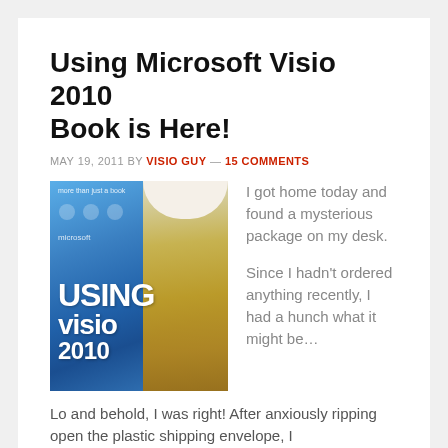Using Microsoft Visio 2010 Book is Here!
MAY 19, 2011 BY VISIO GUY — 15 COMMENTS
[Figure (photo): Photo of the Using Microsoft Visio 2010 book cover (blue) next to a large beer mug]
I got home today and found a mysterious package on my desk.

Since I hadn't ordered anything recently, I had a hunch what it might be…
Lo and behold, I was right! After anxiously ripping open the plastic shipping envelope, I